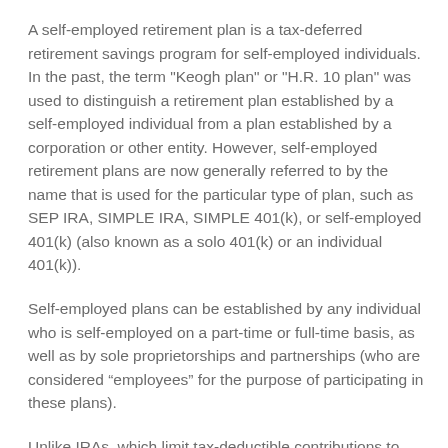A self-employed retirement plan is a tax-deferred retirement savings program for self-employed individuals. In the past, the term "Keogh plan" or "H.R. 10 plan" was used to distinguish a retirement plan established by a self-employed individual from a plan established by a corporation or other entity. However, self-employed retirement plans are now generally referred to by the name that is used for the particular type of plan, such as SEP IRA, SIMPLE IRA, SIMPLE 401(k), or self-employed 401(k) (also known as a solo 401(k) or an individual 401(k)).
Self-employed plans can be established by any individual who is self-employed on a part-time or full-time basis, as well as by sole proprietorships and partnerships (who are considered “employees” for the purpose of participating in these plans).
Unlike IRAs, which limit tax-deductible contributions to $6,000 per year in 2022, self-employed plans